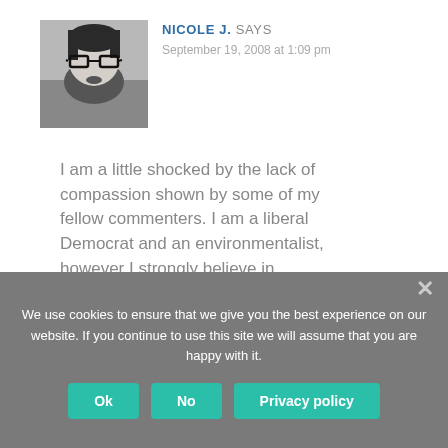[Figure (photo): Black and white photo of a woman with glasses and dark hair]
NICOLE J. SAYS
September 19, 2008 at 1:09 pm
I am a little shocked by the lack of compassion shown by some of my fellow commenters. I am a liberal Democrat and an environmentalist, however I strongly believe in personal responsibility AND a social
We use cookies to ensure that we give you the best experience on our website. If you continue to use this site we will assume that you are happy with it.
Ok
No
Privacy policy